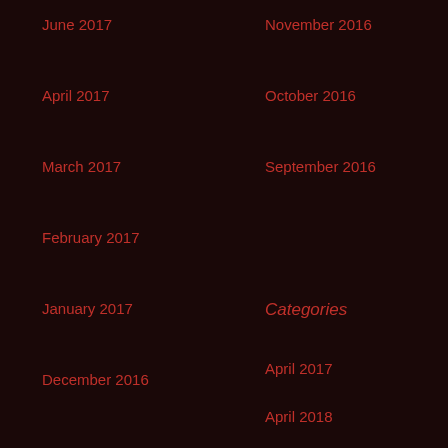June 2017
April 2017
March 2017
February 2017
January 2017
December 2016
November 2016
October 2016
September 2016
Categories
April 2017
April 2018